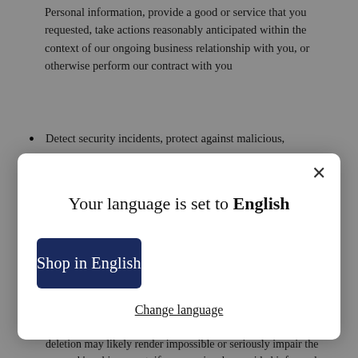Personal information, provide a good or service that you requested, take actions reasonably anticipated within the context of our ongoing business relationship with you, or otherwise perform our contract with you
Detect security incidents, protect against malicious,
[Figure (screenshot): Modal dialog with text 'Your language is set to English', a dark blue 'Shop in English' button, a 'Change language' underlined link, and an X close button in the top right corner.]
Engage in public or peer-reviewed scientific, historical, or statistical research in the public interest that adheres to all other applicable ethics and privacy laws, when the information's deletion may likely render impossible or seriously impair the research's achievement, if you previously provided informed consent.